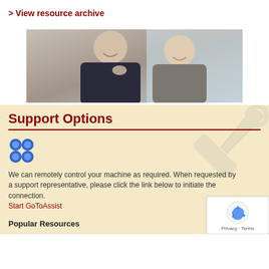> View resource archive
[Figure (photo): Two smiling women, one in dark top and one in grey top, looking at a computer screen together in an office setting]
Support Options
[Figure (logo): Blue four-circle grid icon (GoToAssist logo)]
We can remotely control your machine as required. When requested by a support representative, please click the link below to initiate the connection.
Start GoToAssist
Popular Resources